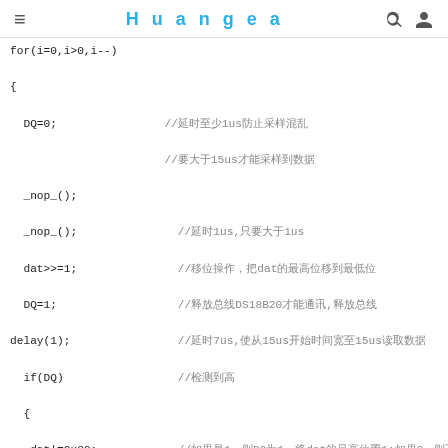≡  Huangea  🔍  👤
for(i=0,i>0,i--)
{
  DQ=0;                //延时至少1us防止采样混乱
                       //要大于15us才能采样到数据

  _nop_();
  _nop_();             //延时1us,只要大于1us
  dat>>=1;             //移位操作，把dat的最高位移到最低位
  DQ=1;                //释放总线DS18B20才能通讯,释放总线
delay(1);              //延时7us,使从15us开始时间宽至15us读取数据
  if(DQ)               //检测到高
  {
   dat|=0x80;          //如果是1，则DQ为1，将dat的最高位置1;如果0，则不去管它，置0
  }
delay(60);      //使采样时间到达60us－完毕

}